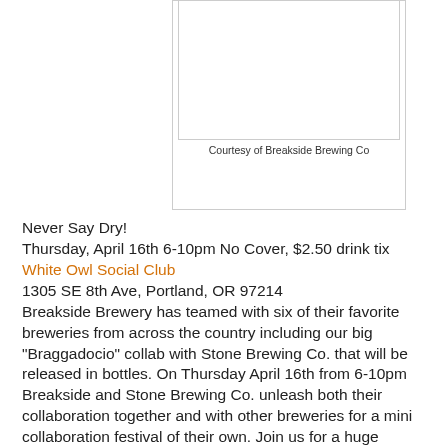[Figure (photo): Image box with white interior, bordered rectangle. Courtesy of Breakside Brewing Co.]
Courtesy of Breakside Brewing Co
Never Say Dry!
Thursday, April 16th 6-10pm No Cover, $2.50 drink tix
White Owl Social Club
1305 SE 8th Ave, Portland, OR 97214
Breakside Brewery has teamed with six of their favorite breweries from across the country including our big "Braggadocio" collab with Stone Brewing Co. that will be released in bottles. On Thursday April 16th from 6-10pm Breakside and Stone Brewing Co. unleash both their collaboration together and with other breweries for a mini collaboration festival of their own. Join us for a huge selection of fun brews and meet the Breakside and Stone Brewing teams in person.
Beer List:
Bside/Stone: Braggadocio
Bside/Pinthouse: Session Black IPA